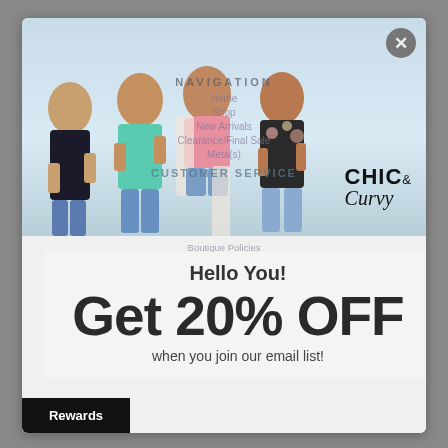[Figure (screenshot): Website popup modal for Chic & Curvy plus-size clothing boutique. Shows a photo of four women in jeans and tops against a light blue background, with the Chic & Curvy brand logo. Behind the popup, navigation links (Home, Shop, New Arrivals, Clearance/Final Sale, etc.) and Customer Service links are faintly visible. A close (X) button appears top right.]
NAVIGATION
Home
Shop
New Arrivals
Clearance/Final Sale
Meta(s)
CUSTOMER SERVICE
Boutique Policies
Contact Us
Size Chart
Shipping & Shipping Options
FAQs
Return Policy
Hello You!
Get 20% OFF
when you join our email list!
Rewards
CONNECT